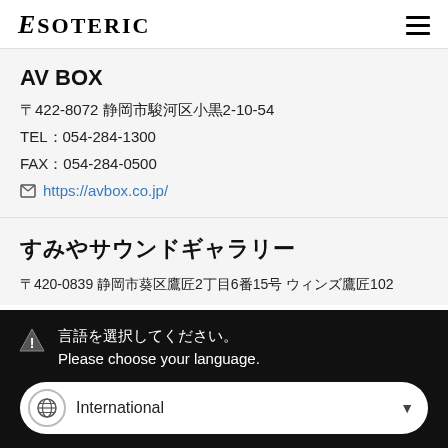ESOTERIC
AV BOX
〒422-8072 静岡市駿河区小黒2-10-54
TEL：054-284-1300
FAX：054-284-0500
https://avbox.co.jp/
すみやサウンドギャラリー
〒420-0839 静岡市葵区鷹匠2丁目6番15号 ウィンズ鷹匠102
言語を選択してください。
Please choose your language.
International